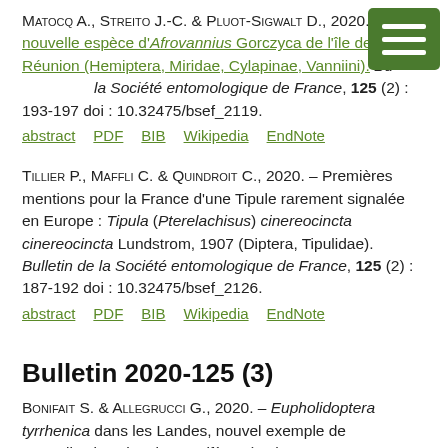Matocq A., Streito J.-C. & Pluot-Sigwalt D., 2020. – Une nouvelle espèce d'Afrovannius Gorczyca de l'île de la Réunion (Hemiptera, Miridae, Cylapinae, Vanniini). Bulletin de la Société entomologique de France, 125 (2) : 193-197 doi : 10.32475/bsef_2119.
abstract   PDF   BIB   Wikipedia   EndNote
Tillier P., Maffli C. & Quindroit C., 2020. – Premières mentions pour la France d'une Tipule rarement signalée en Europe : Tipula (Pterelachisus) cinereocincta cinereocincta Lundstrom, 1907 (Diptera, Tipulidae). Bulletin de la Société entomologique de France, 125 (2) : 187-192 doi : 10.32475/bsef_2126.
abstract   PDF   BIB   Wikipedia   EndNote
Bulletin 2020-125 (3)
Bonifait S. & Allegrucci G., 2020. – Eupholidoptera tyrrhenica dans les Landes, nouvel exemple de naturalisation chez les Ensifères (Orthoptera, Tettigoniidae). Bulletin de la Société